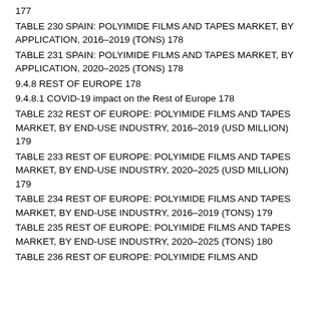177
TABLE 230 SPAIN: POLYIMIDE FILMS AND TAPES MARKET, BY APPLICATION, 2016–2019 (TONS) 178
TABLE 231 SPAIN: POLYIMIDE FILMS AND TAPES MARKET, BY APPLICATION, 2020–2025 (TONS) 178
9.4.8 REST OF EUROPE 178
9.4.8.1 COVID-19 impact on the Rest of Europe 178
TABLE 232 REST OF EUROPE: POLYIMIDE FILMS AND TAPES MARKET, BY END-USE INDUSTRY, 2016–2019 (USD MILLION) 179
TABLE 233 REST OF EUROPE: POLYIMIDE FILMS AND TAPES MARKET, BY END-USE INDUSTRY, 2020–2025 (USD MILLION) 179
TABLE 234 REST OF EUROPE: POLYIMIDE FILMS AND TAPES MARKET, BY END-USE INDUSTRY, 2016–2019 (TONS) 179
TABLE 235 REST OF EUROPE: POLYIMIDE FILMS AND TAPES MARKET, BY END-USE INDUSTRY, 2020–2025 (TONS) 180
TABLE 236 REST OF EUROPE: POLYIMIDE FILMS AND